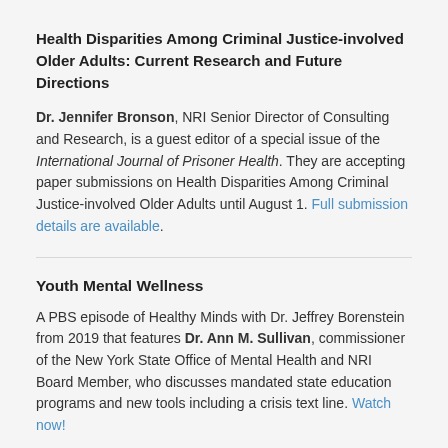Health Disparities Among Criminal Justice-involved Older Adults: Current Research and Future Directions
Dr. Jennifer Bronson, NRI Senior Director of Consulting and Research, is a guest editor of a special issue of the International Journal of Prisoner Health. They are accepting paper submissions on Health Disparities Among Criminal Justice-involved Older Adults until August 1. Full submission details are available.
Youth Mental Wellness
A PBS episode of Healthy Minds with Dr. Jeffrey Borenstein from 2019 that features Dr. Ann M. Sullivan, commissioner of the New York State Office of Mental Health and NRI Board Member, who discusses mandated state education programs and new tools including a crisis text line. Watch now!